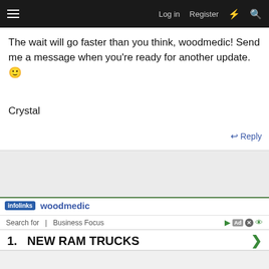Log in  Register
The wait will go faster than you think, woodmedic! Send me a message when you're ready for another update. 🙂
Crystal
↩ Reply
[Figure (screenshot): Gray advertisement area]
infolinks  woodmedic
Search for  |  Business Focus
1.  NEW RAM TRUCKS
[Figure (screenshot): Bottom gray content area]